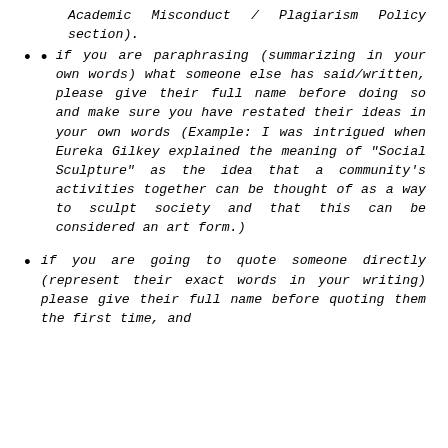Academic Misconduct / Plagiarism Policy section).
if you are paraphrasing (summarizing in your own words) what someone else has said/written, please give their full name before doing so and make sure you have restated their ideas in your own words (Example: I was intrigued when Eureka Gilkey explained the meaning of “Social Sculpture” as the idea that a community’s activities together can be thought of as a way to sculpt society and that this can be considered an art form.)
if you are going to quote someone directly (represent their exact words in your writing) please give their full name before quoting them the first time, and